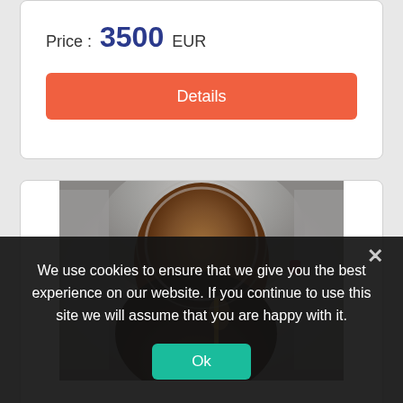Price : 3500 EUR
Details
[Figure (photo): Orthodox religious icon with silver/metal oklad (riza) frame showing a dark-toned face of a saint or Madonna, with ornate embossed silver halo and decorative metalwork surrounding the painted wooden icon board.]
We use cookies to ensure that we give you the best experience on our website. If you continue to use this site we will assume that you are happy with it.
Ok